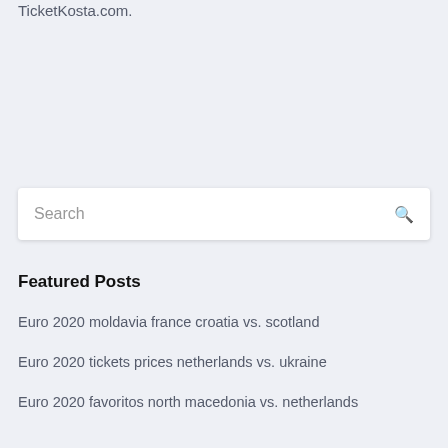TicketKosta.com.
[Figure (other): Search input box with magnifying glass icon]
Featured Posts
Euro 2020 moldavia france croatia vs. scotland
Euro 2020 tickets prices netherlands vs. ukraine
Euro 2020 favoritos north macedonia vs. netherlands